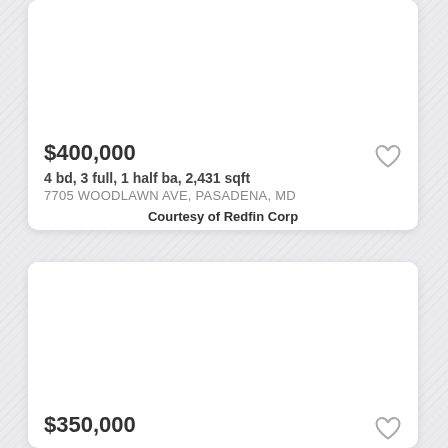$400,000
4 bd, 3 full, 1 half ba, 2,431 sqft
7705 WOODLAWN AVE, PASADENA, MD
Courtesy of Redfin Corp
$350,000